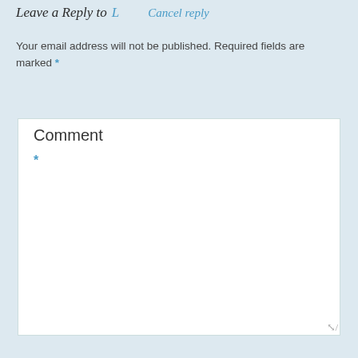Leave a Reply to L   Cancel reply
Your email address will not be published. Required fields are marked *
Comment
*